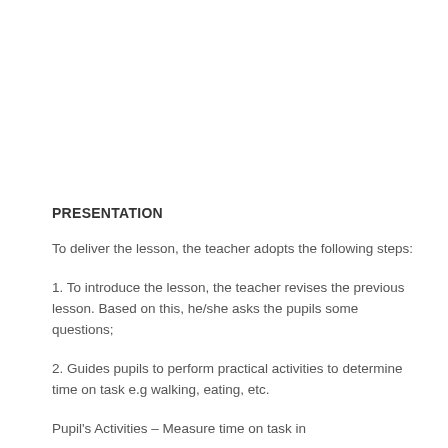PRESENTATION
To deliver the lesson, the teacher adopts the following steps:
1.  To introduce the lesson, the teacher revises the previous lesson. Based on this, he/she asks the pupils some questions;
2.  Guides pupils to perform practical activities to determine time on task e.g walking, eating, etc.
Pupil's Activities – Measure time on task in